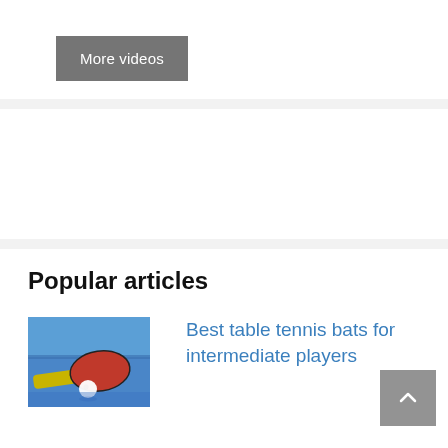More videos
[Figure (photo): Table tennis bat and ball on blue table surface]
Popular articles
Best table tennis bats for intermediate players